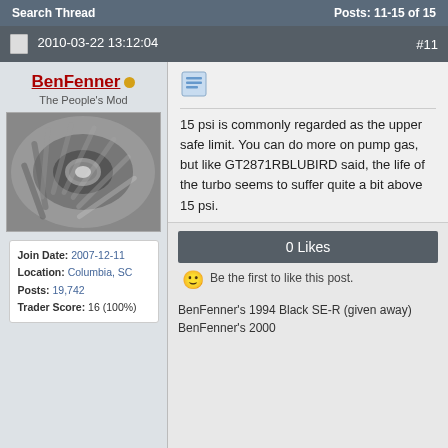Search Thread   Posts: 11-15 of 15
2010-03-22 13:12:04   #11
BenFenner
The People's Mod
Join Date: 2007-12-11
Location: Columbia, SC
Posts: 19,742
Trader Score: 16 (100%)
15 psi is commonly regarded as the upper safe limit. You can do more on pump gas, but like GT2871RBLUBIRD said, the life of the turbo seems to suffer quite a bit above 15 psi.
0 Likes
Be the first to like this post.
BenFenner's 1994 Black SE-R (given away)
BenFenner's 2000